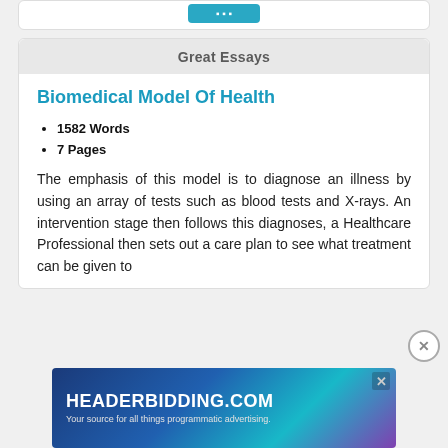Great Essays
Biomedical Model Of Health
1582 Words
7 Pages
The emphasis of this model is to diagnose an illness by using an array of tests such as blood tests and X-rays. An intervention stage then follows this diagnoses, a Healthcare Professional then sets out a care plan to see what treatment can be given to
[Figure (screenshot): HEADERBIDDING.COM advertisement banner — Your source for all things programmatic advertising.]